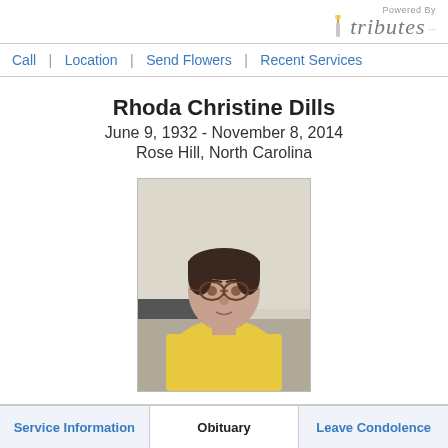Powered By tributes
Call | Location | Send Flowers | Recent Services
Rhoda Christine Dills
June 9, 1932 - November 8, 2014
Rose Hill, North Carolina
[Figure (photo): Portrait photo of Rhoda Christine Dills, an elderly woman wearing glasses and a yellow shirt, seated indoors against a light wall.]
Service Information | Obituary | Leave Condolence